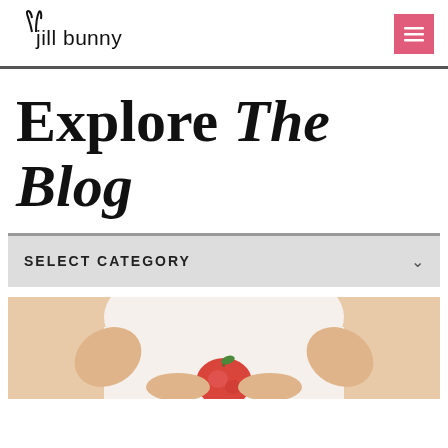jill bunny
Explore The Blog
SELECT CATEGORY
[Figure (photo): Person holding a red apple against their body, wearing a white outfit, cropped view showing hands and torso]